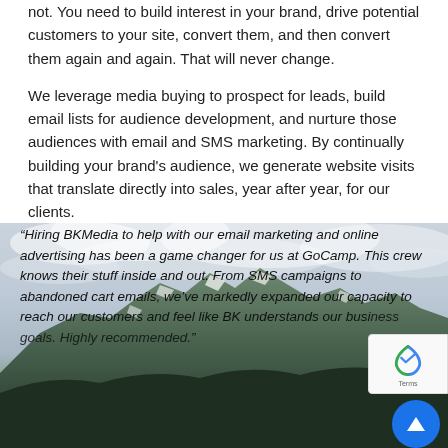not. You need to build interest in your brand, drive potential customers to your site, convert them, and then convert them again and again. That will never change.
We leverage media buying to prospect for leads, build email lists for audience development, and nurture those audiences with email and SMS marketing. By continually building your brand's audience, we generate website visits that translate directly into sales, year after year, for our clients.
[Figure (photo): Mountain landscape with cloudy sky, snow patches visible on rocky peaks, dark forested slopes in foreground]
“Hiring BKMedia to help with our email marketing and online advertising has been a game changer for us at GoCamp. This crew knows their stuff inside and out. From SMS campaigns to abandoned cart emails, we’ve markedly expanded our capacity to reach our customers and feel like BK understands our business goals. Highly recommended”